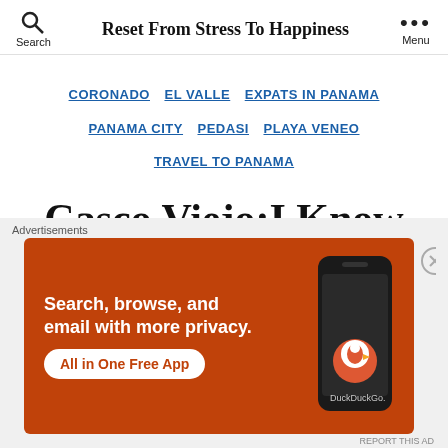Reset From Stress To Happiness
CORONADO  EL VALLE  EXPATS IN PANAMA  PANAMA CITY  PEDASI  PLAYA VENEO  TRAVEL TO PANAMA
Casco Viejo;I Know My Horse Could Find Her Way Down These
[Figure (screenshot): DuckDuckGo advertisement banner: orange background with phone image, text 'Search, browse, and email with more privacy. All in One Free App', DuckDuckGo logo]